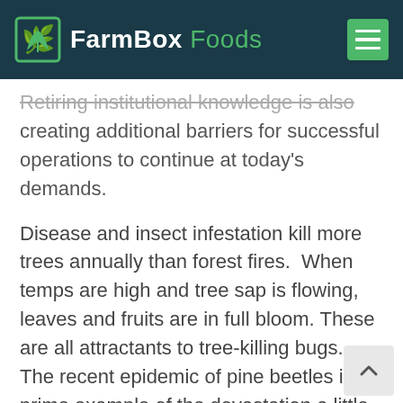FarmBox Foods
Retiring institutional knowledge is also creating additional barriers for successful operations to continue at today's demands.
Disease and insect infestation kill more trees annually than forest fires.  When temps are high and tree sap is flowing, leaves and fruits are in full bloom. These are all attractants to tree-killing bugs.  The recent epidemic of pine beetles is a prime example of the devastation a little bug can wreak on tree populations. Millions of trees were lost to the mountain pine beetle alone over the last 20 years.